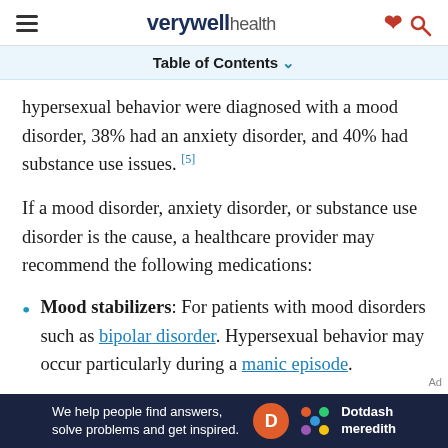verywell health
Table of Contents
hypersexual behavior were diagnosed with a mood disorder, 38% had an anxiety disorder, and 40% had substance use issues. [5]
If a mood disorder, anxiety disorder, or substance use disorder is the cause, a healthcare provider may recommend the following medications:
Mood stabilizers: For patients with mood disorders such as bipolar disorder. Hypersexual behavior may occur particularly during a manic episode.
[Figure (other): Dotdash Meredith advertisement banner: 'We help people find answers, solve problems and get inspired.']